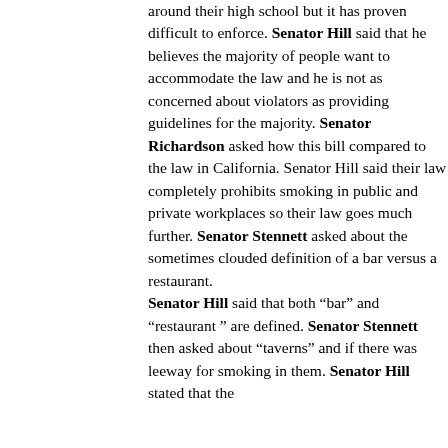around their high school but it has proven difficult to enforce. Senator Hill said that he believes the majority of people want to accommodate the law and he is not as concerned about violators as providing guidelines for the majority. Senator Richardson asked how this bill compared to the law in California. Senator Hill said their law completely prohibits smoking in public and private workplaces so their law goes much further. Senator Stennett asked about the sometimes clouded definition of a bar versus a restaurant. Senator Hill said that both “bar” and “restaurant ” are defined. Senator Stennett then asked about “taverns” and if there was leeway for smoking in them. Senator Hill stated that the